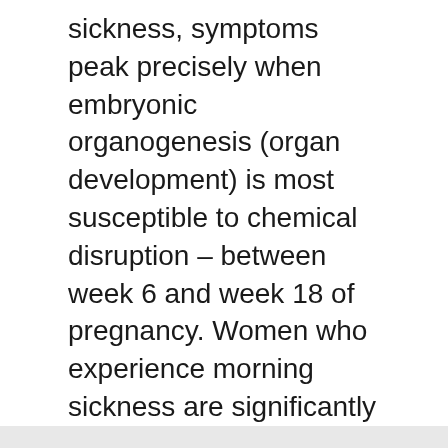sickness, symptoms peak precisely when embryonic organogenesis (organ development) is most susceptible to chemical disruption – between week 6 and week 18 of pregnancy. Women who experience morning sickness are significantly less likely to miscarry than women who do not.
Newborn
[Figure (screenshot): Search bar with text input field showing placeholder 'Search ...' and a dark gray search button with magnifying glass icon]